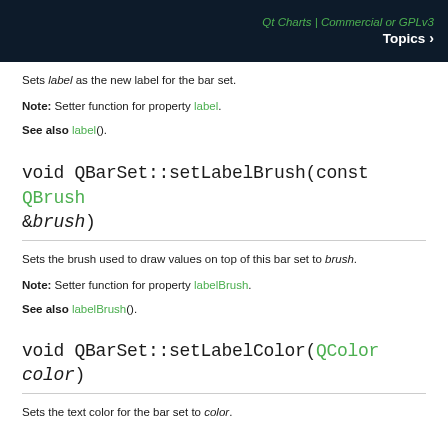Qt Charts | Commercial or GPLv3  Topics
Sets label as the new label for the bar set.
Note: Setter function for property label.
See also label().
void QBarSet::setLabelBrush(const QBrush &brush)
Sets the brush used to draw values on top of this bar set to brush.
Note: Setter function for property labelBrush.
See also labelBrush().
void QBarSet::setLabelColor(QColor color)
Sets the text color for the bar set to color.